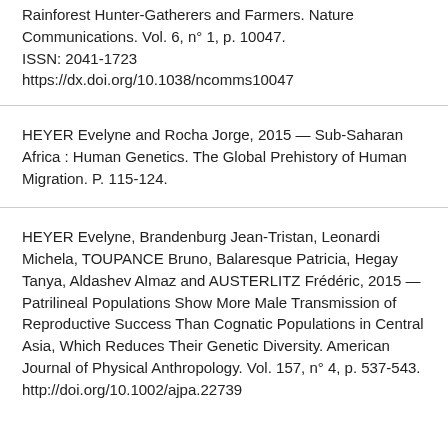Rainforest Hunter-Gatherers and Farmers. Nature Communications. Vol. 6, n° 1, p. 10047. ISSN: 2041-1723 https://dx.doi.org/10.1038/ncomms10047
HEYER Evelyne and Rocha Jorge, 2015 — Sub-Saharan Africa : Human Genetics. The Global Prehistory of Human Migration. P. 115-124.
HEYER Evelyne, Brandenburg Jean-Tristan, Leonardi Michela, TOUPANCE Bruno, Balaresque Patricia, Hegay Tanya, Aldashev Almaz and AUSTERLITZ Frédéric, 2015 — Patrilineal Populations Show More Male Transmission of Reproductive Success Than Cognatic Populations in Central Asia, Which Reduces Their Genetic Diversity. American Journal of Physical Anthropology. Vol. 157, n° 4, p. 537-543. http://doi.org/10.1002/ajpa.22739